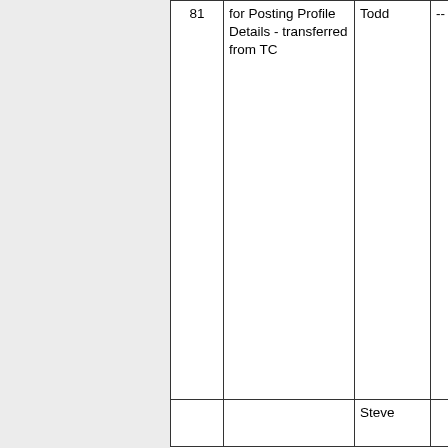| 81 | for Posting Profile Details - transferred from TC | Todd | -- |
|  |  | Steve |  |